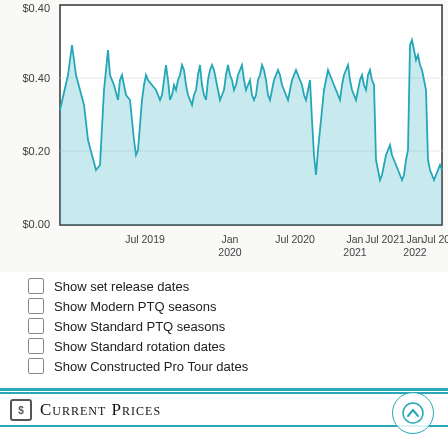[Figure (continuous-plot): Line/area price history chart showing card price from Jul 2019 to Jul 2022, y-axis from $0.00 to $0.40+, with teal colored volatile price line]
Show set release dates
Show Modern PTQ seasons
Show Standard PTQ seasons
Show Standard rotation dates
Show Constructed Pro Tour dates
Current Prices